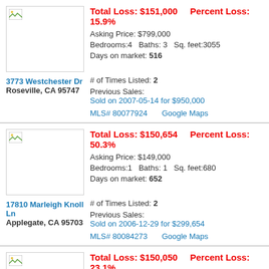Total Loss: $151,000   Percent Loss: 15.9%
Asking Price: $799,000
Bedrooms:4   Baths: 3   Sq. feet:3055
Days on market: 516
3773 Westchester Dr
Roseville, CA 95747
# of Times Listed: 2
Previous Sales:
Sold on 2007-05-14 for $950,000
MLS# 80077924   Google Maps
Total Loss: $150,654   Percent Loss: 50.3%
Asking Price: $149,000
Bedrooms:1   Baths: 1   Sq. feet:680
Days on market: 652
17810 Marleigh Knoll Ln
Applegate, CA 95703
# of Times Listed: 2
Previous Sales:
Sold on 2006-12-29 for $299,654
MLS# 80084273   Google Maps
Total Loss: $150,050   Percent Loss: 23.1%
Asking Price: $499,950
Bedrooms:5   Baths: 4   Sq. feet:3540